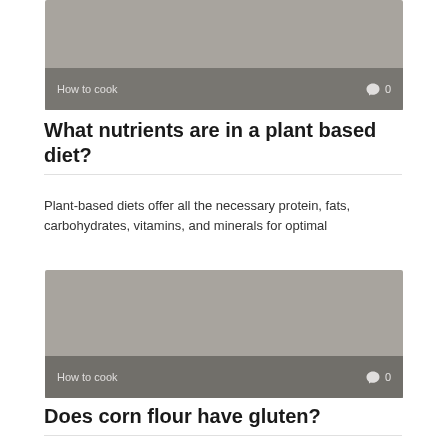[Figure (photo): Gray placeholder image with 'How to cook' label and comment icon showing 0 comments at the bottom overlay]
What nutrients are in a plant based diet?
Plant-based diets offer all the necessary protein, fats, carbohydrates, vitamins, and minerals for optimal
[Figure (photo): Gray placeholder image with 'How to cook' label and comment icon showing 0 comments at the bottom overlay]
Does corn flour have gluten?
Just like corn starch, corn flour is gluten-free in its natural form. It has